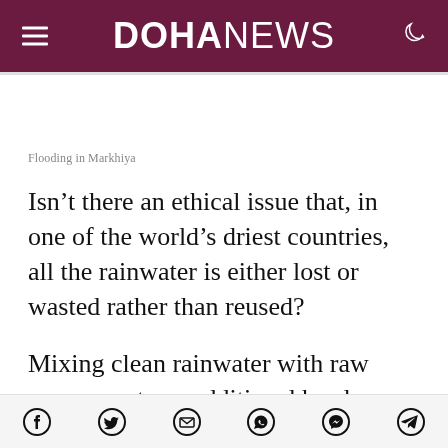DOHANEWS
Flooding in Markhiya
Isn’t there an ethical issue that, in one of the world’s driest countries, all the rainwater is either lost or wasted rather than reused?
Mixing clean rainwater with raw sewage puts an additional burden on the country’s costly and
Social share icons: Facebook, Twitter, Email, WhatsApp, Messenger, Telegram